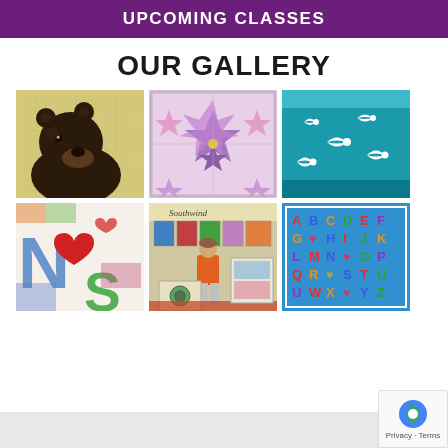UPCOMING CLASSES
OUR GALLERY
[Figure (photo): Quilted bear portrait on yellow background]
[Figure (photo): Geometric star quilt pattern in pink and purple]
[Figure (photo): Teal blue quilt with white bird silhouettes]
[Figure (photo): Applique quilt with letters N, S and heart shapes]
[Figure (photo): Southwind quilt shop display with person standing in front]
[Figure (photo): Alphabet quilt A-Z on blue background with colorful letters]
Privacy · Terms